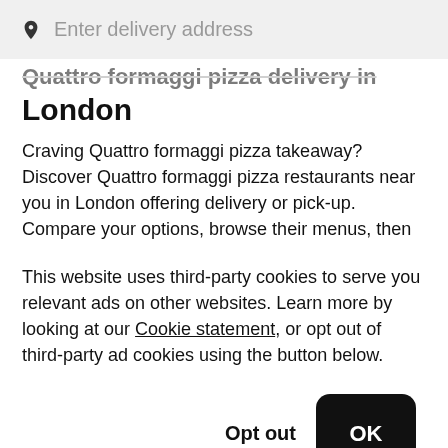[Figure (screenshot): Search bar with pin/location icon and placeholder text 'Enter delivery address' on a light grey background]
Quattro formaggi pizza delivery in London
Craving Quattro formaggi pizza takeaway? Discover Quattro formaggi pizza restaurants near you in London offering delivery or pick-up. Compare your options, browse their menus, then place your Quattro formaggi pizza order online with Uber Eats.
This website uses third-party cookies to serve you relevant ads on other websites. Learn more by looking at our Cookie statement, or opt out of third-party ad cookies using the button below.
Opt out   OK